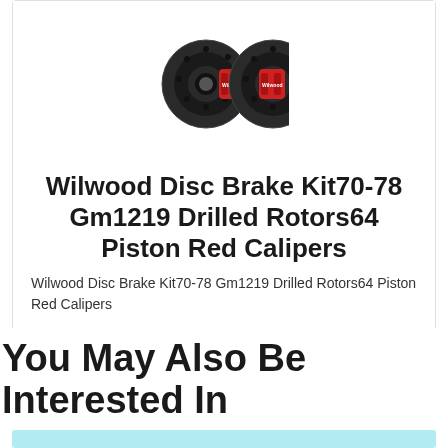[Figure (photo): Two Wilwood disc brake rotors with red calipers shown side by side on white background]
Wilwood Disc Brake Kit70-78 Gm1219 Drilled Rotors64 Piston Red Calipers
Wilwood Disc Brake Kit70-78 Gm1219 Drilled Rotors64 Piston Red Calipers
$2459.99
You May Also Be Interested In